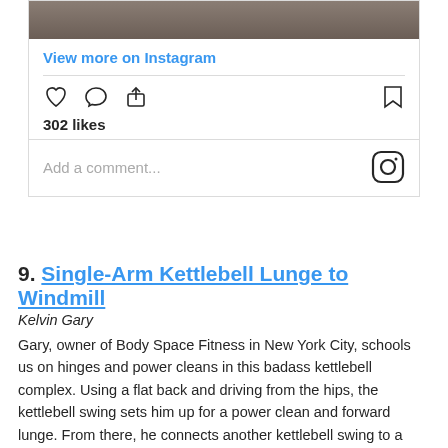[Figure (screenshot): Instagram post UI showing photo strip, View more on Instagram link, like/comment/share icons, 302 likes, and comment input field with Instagram logo]
9. Single-Arm Kettlebell Lunge to Windmill
Kelvin Gary
Gary, owner of Body Space Fitness in New York City, schools us on hinges and power cleans in this badass kettlebell complex. Using a flat back and driving from the hips, the kettlebell swing sets him up for a power clean and forward lunge. From there, he connects another kettlebell swing to a clean and overhead press, straight into the windmill.